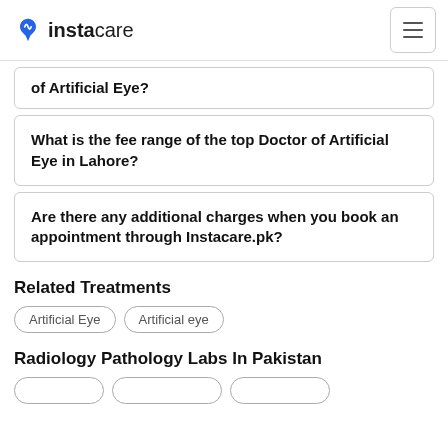instacare
of Artificial Eye?
What is the fee range of the top Doctor of Artificial Eye in Lahore?
Are there any additional charges when you book an appointment through Instacare.pk?
Related Treatments
Artificial Eye
Artificial eye
Radiology Pathology Labs In Pakistan